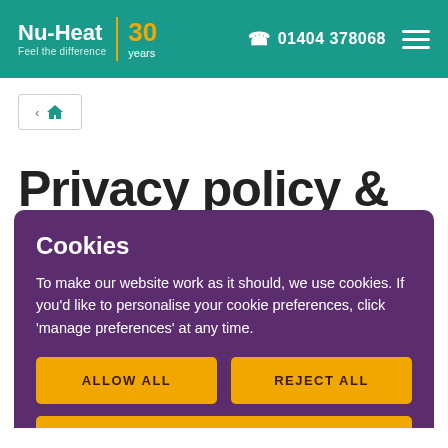Nu-Heat | Feel the difference | 30 years | 01404 378068
[Figure (other): Breadcrumb navigation with home icon]
Privacy policy &
Cookies
To make our website work as it should, we use cookies. If you'd like to personalise your cookie preferences, click ‘manage preferences’ at any time.
ALLOW ALL
REJECT ALL
MANAGE PREFERENCES